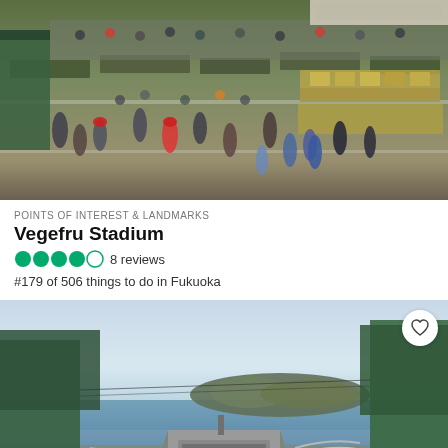[Figure (photo): Aerial view of a busy outdoor market with people, stalls, and produce boxes — Vegefru Stadium market scene in Fukuoka, Japan]
POINTS OF INTEREST & LANDMARKS
Vegefru Stadium
4 out of 5 circles (TripAdvisor rating) — 8 reviews
#179 of 506 things to do in Fukuoka
[Figure (photo): Outdoor scenic view showing an island visible across the water, with trees, a stone monument with text, and a metal railing — seaside landmark in Fukuoka]